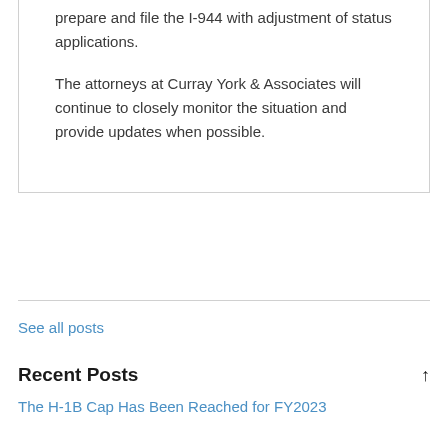prepare and file the I-944 with adjustment of status applications.
The attorneys at Curray York & Associates will continue to closely monitor the situation and provide updates when possible.
See all posts
Recent Posts
The H-1B Cap Has Been Reached for FY2023